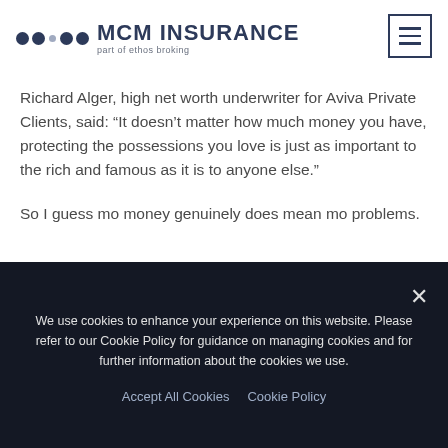MCM INSURANCE part of ethos broking
Richard Alger, high net worth underwriter for Aviva Private Clients, said: “It doesn’t matter how much money you have, protecting the possessions you love is just as important to the rich and famous as it is to anyone else.”
So I guess mo money genuinely does mean mo problems.
Special credit to www.Aviva.com/mediacentre
We use cookies to enhance your experience on this website. Please refer to our Cookie Policy for guidance on managing cookies and for further information about the cookies we use.
Accept All Cookies   Cookie Policy